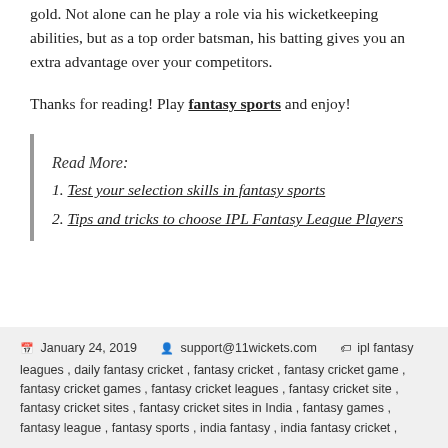gold. Not alone can he play a role via his wicketkeeping abilities, but as a top order batsman, his batting gives you an extra advantage over your competitors.
Thanks for reading! Play fantasy sports and enjoy!
Read More:
1. Test your selection skills in fantasy sports
2. Tips and tricks to choose IPL Fantasy League Players
January 24, 2019   support@11wickets.com   ipl fantasy leagues, daily fantasy cricket, fantasy cricket, fantasy cricket game, fantasy cricket games, fantasy cricket leagues, fantasy cricket site, fantasy cricket sites, fantasy cricket sites in India, fantasy games, fantasy league, fantasy sports, india fantasy, india fantasy cricket,